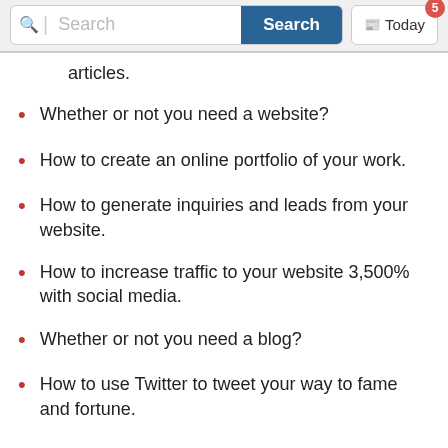[Figure (screenshot): Search bar with search icon, placeholder text 'Search', a blue 'Search' button, and a 'Today' button with a red badge showing the number 5]
articles.
Whether or not you need a website?
How to create an online portfolio of your work.
How to generate inquiries and leads from your website.
How to increase traffic to your website 3,500% with social media.
Whether or not you need a blog?
How to use Twitter to tweet your way to fame and fortune.